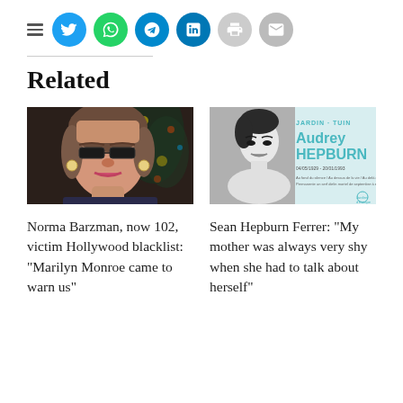[Figure (infographic): Row of social media sharing icons: hamburger menu, Twitter (blue), WhatsApp (green), Telegram (teal), LinkedIn (blue), Print (grey), Email (grey)]
Related
[Figure (photo): Photo of Norma Barzman, an elderly woman with glasses and earrings in front of Christmas tree]
Norma Barzman, now 102, victim Hollywood blacklist: “Marilyn Monroe came to warn us”
[Figure (photo): Photo of Audrey Hepburn exhibition poster: JARDIN - TUIN / Audrey HEPBURN / 04/05/1929 - 20/01/1993]
Sean Hepburn Ferrer: “My mother was always very shy when she had to talk about herself”